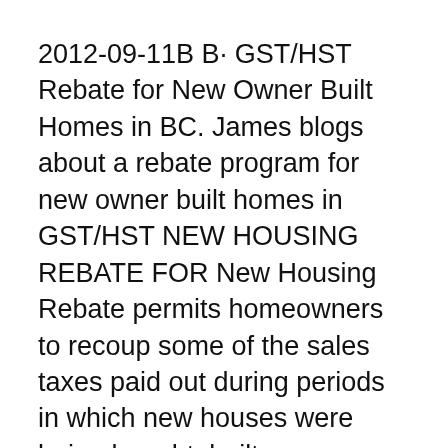2012-09-11B B· GST/HST Rebate for New Owner Built Homes in BC. James blogs about a rebate program for new owner built homes in GST/HST NEW HOUSING REBATE FOR New Housing Rebate permits homeowners to recoup some of the sales taxes paid out during periods in which new houses were being bought, built, or renovated.
... Get part of the GST or HST back when you build or buy a new house, GST-HST New Housing Rebate. New Housing Rebate Application For Owner-Built Houses Applying for a New Home GST/HST Rebate. One is the rebate for New Home Construction the other is...